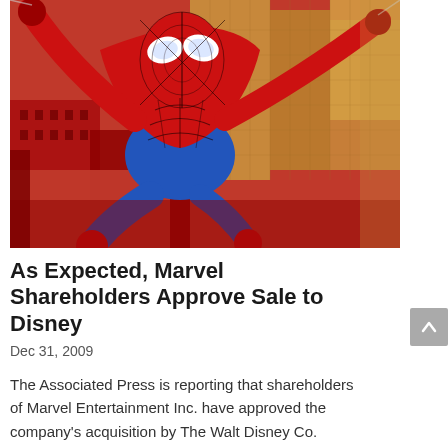[Figure (illustration): Comic book illustration of Spider-Man swinging through a city of red and yellow buildings, viewed from above. Spider-Man is depicted in red and blue costume with the city skyline below.]
As Expected, Marvel Shareholders Approve Sale to Disney
Dec 31, 2009
The Associated Press is reporting that shareholders of Marvel Entertainment Inc. have approved the company's acquisition by The Walt Disney Co.